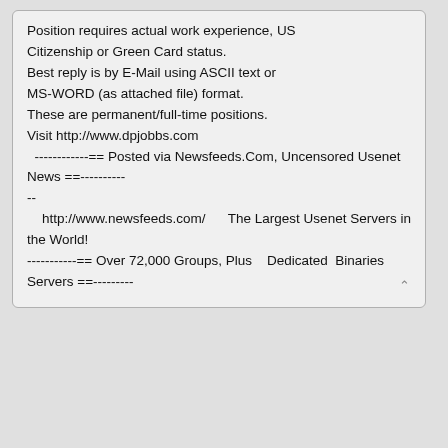Position requires actual work experience, US Citizenship or Green Card status.
Best reply is by E-Mail using ASCII text or MS-WORD (as attached file) format.
These are permanent/full-time positions.
Visit http://www.dpjobbs.com
  ------------== Posted via Newsfeeds.Com, Uncensored Usenet News ==----------
--
    http://www.newsfeeds.com/      The Largest Usenet News Servers in the World!
-----------== Over 72,000 Groups, Plus   Dedicated  Binaries Servers ==---------